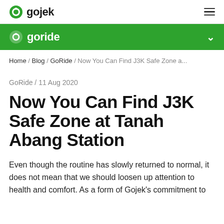gojek
goride
Home / Blog / GoRide / Now You Can Find J3K Safe Zone a...
GoRide / 11 Aug 2020
Now You Can Find J3K Safe Zone at Tanah Abang Station
Even though the routine has slowly returned to normal, it does not mean that we should loosen up attention to health and comfort. As a form of Gojek's commitment to